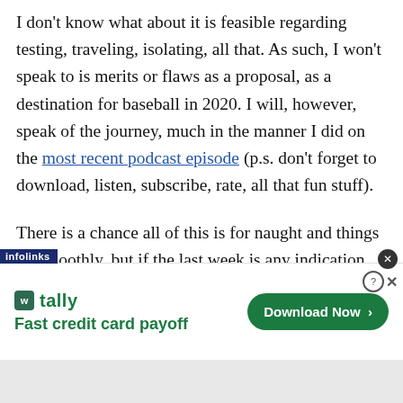I don't know what about it is feasible regarding testing, traveling, isolating, all that. As such, I won't speak to is merits or flaws as a proposal, as a destination for baseball in 2020. I will, however, speak of the journey, much in the manner I did on the most recent podcast episode (p.s. don't forget to download, listen, subscribe, rate, all that fun stuff).
There is a chance all of this is for naught and things go smoothly, but if the last week is any indication, there's going to be tension between the owners and the players
[Figure (other): Infolinks advertisement banner for Tally app — 'Fast credit card payoff' with a green 'Download Now' button and close icons]